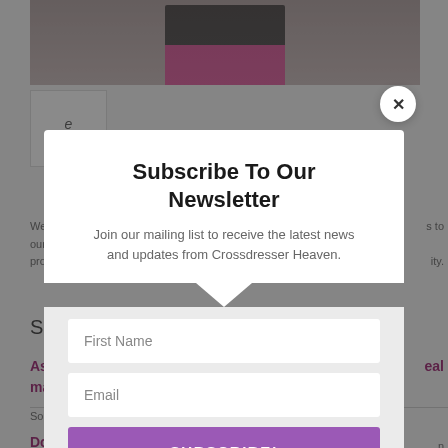[Figure (screenshot): Background page content showing a website with a photo of two women in exercise clothing at the top, a logo at upper left, body text partially visible, and section headings in purple/magenta partially visible, all dimmed behind a modal overlay]
Subscribe To Our Newsletter
Join our mailing list to receive the latest news and updates from Crossdresser Heaven.
First Name
Email
SUBSCRIBE!
We hate spam too, unsubscribe at any time.